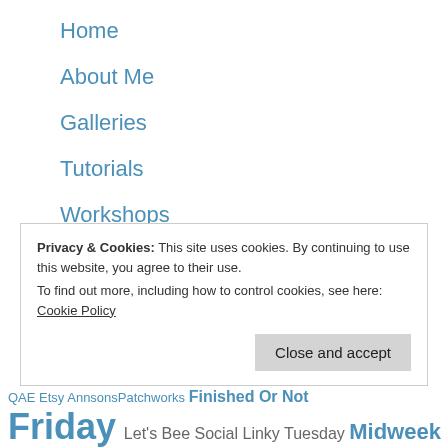Home
About Me
Galleries
Tutorials
Workshops
Shop
Privacy Policy
Privacy & Cookies: This site uses cookies. By continuing to use this website, you agree to their use.
To find out more, including how to control cookies, see here: Cookie Policy
QAE Etsy AnnsonsPatchworks Finished Or Not Friday Let's Bee Social Linky Tuesday Midweek Makers